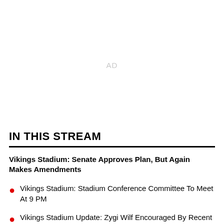[Figure (other): AD placeholder advertisement space]
IN THIS STREAM
Vikings Stadium: Senate Approves Plan, But Again Makes Amendments
Vikings Stadium: Stadium Conference Committee To Meet At 9 PM
Vikings Stadium Update: Zygi Wilf Encouraged By Recent Developments